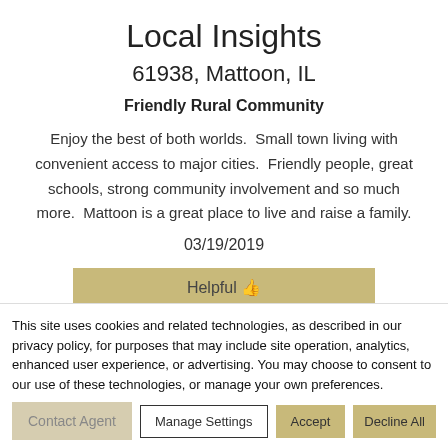Local Insights
61938, Mattoon, IL
Friendly Rural Community
Enjoy the best of both worlds. Small town living with convenient access to major cities. Friendly people, great schools, strong community involvement and so much more. Mattoon is a great place to live and raise a family.
03/19/2019
Helpful 👍
This site uses cookies and related technologies, as described in our privacy policy, for purposes that may include site operation, analytics, enhanced user experience, or advertising. You may choose to consent to our use of these technologies, or manage your own preferences.
Manage Settings | Accept | Decline All